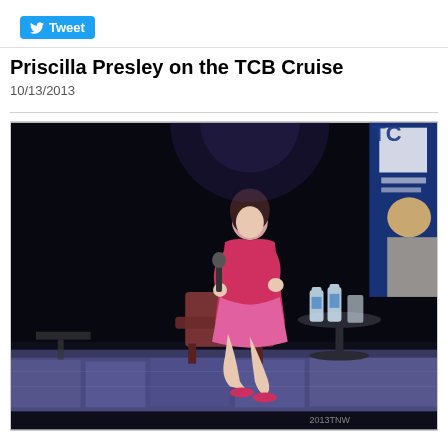[Figure (other): Twitter Tweet button with bird icon]
Priscilla Presley on the TCB Cruise
10/13/2013
[Figure (photo): Priscilla Presley seated on stage in a red/pink dress, holding a microphone, with a small table with water bottles to her right, on a cruise ship stage with decorative backdrop.]